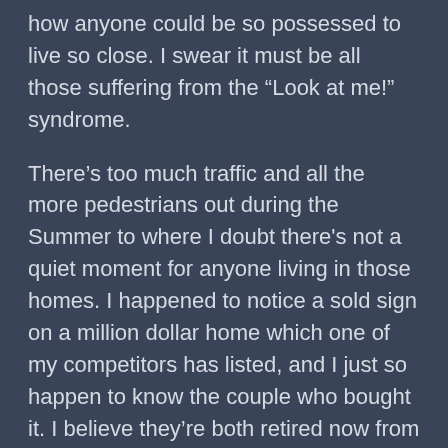how anyone could be so possessed to live so close. I swear it must be all those suffering from the “Look at me!” syndrome.
There’s too much traffic and all the more pedestrians out during the Summer to where I doubt there's not a quiet moment for anyone living in those homes. I happened to notice a sold sign on a million dollar home which one of my competitors has listed, and I just so happen to know the couple who bought it. I believe they’re both retired now from their dental professions. He was a dentist and she worked on the clerical end of his office.
Everyone thinks doctors are the ones with suitcases full of cash, but the real money-makers/hoarders are dentists. They’re very good at